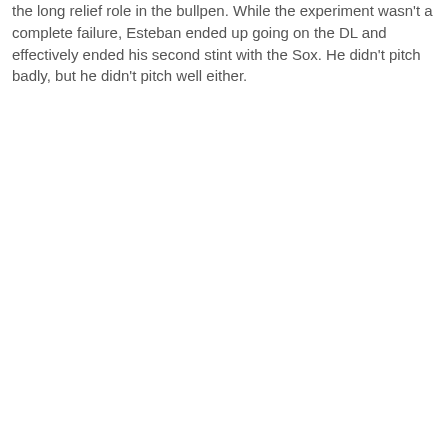the long relief role in the bullpen. While the experiment wasn't a complete failure, Esteban ended up going on the DL and effectively ended his second stint with the Sox. He didn't pitch badly, but he didn't pitch well either.